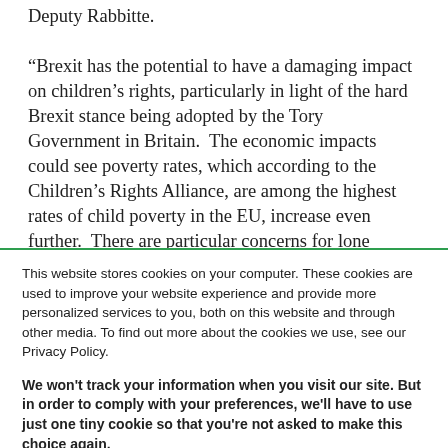Deputy Rabbitte.

“Brexit has the potential to have a damaging impact on children’s rights, particularly in light of the hard Brexit stance being adopted by the Tory Government in Britain.  The economic impacts could see poverty rates, which according to the Children’s Rights Alliance, are among the highest rates of child poverty in the EU, increase even further.  There are particular concerns for lone parent families, as the severe material deprivation rate for Ireland in 2014 was 25.1%, compared to an EU average of 19.2%
This website stores cookies on your computer. These cookies are used to improve your website experience and provide more personalized services to you, both on this website and through other media. To find out more about the cookies we use, see our Privacy Policy.
We won't track your information when you visit our site. But in order to comply with your preferences, we'll have to use just one tiny cookie so that you're not asked to make this choice again.